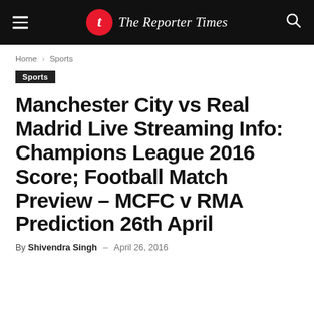The Reporter Times
Home › Sports
Sports
Manchester City vs Real Madrid Live Streaming Info: Champions League 2016 Score; Football Match Preview – MCFC v RMA Prediction 26th April
By Shivendra Singh – April 26, 2016